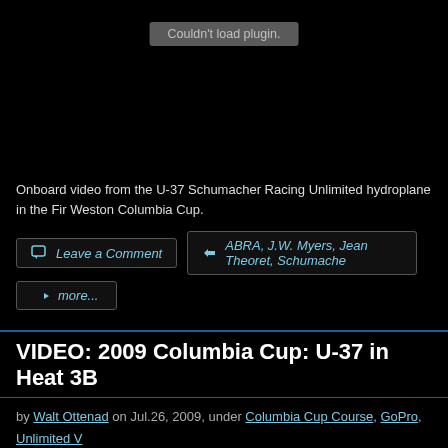[Figure (screenshot): Black video embed area with 'Couldn't load plugin.' message in a grey box]
Onboard video from the U-37 Schumacher Racing Unlimited hydroplane in the First Weston Columbia Cup.
Leave a Comment
ABRA, J.W. Myers, Jean Theoret, Schumacher
more...
VIDEO: 2009 Columbia Cup: U-37 in Heat 3B
by Walt Ottenad on Jul.26, 2009, under Columbia Cup Course, GoPro, Unlimited Video